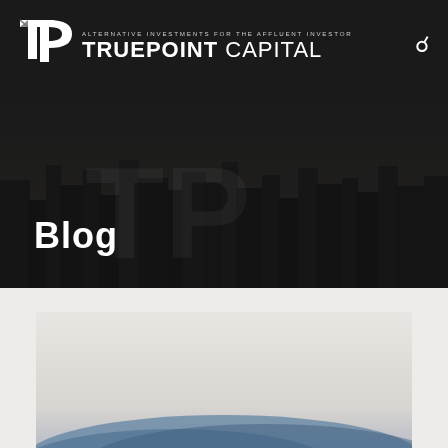TruePoint Capital — ALTERNATIVE INVESTMENTS FOR THE AFFLUENT INVESTOR
Blog
[Figure (photo): Dark background hero image with city skyline and large TP watermark logo visible in background, overlaid with dark translucent overlay]
[Figure (photo): Partially visible article card image at the bottom of the page, showing a light sky with blue wave or water element at the bottom edge]